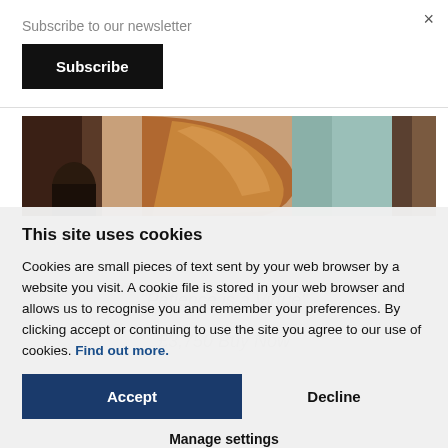Subscribe to our newsletter
Subscribe
[Figure (photo): Partial view of a painting showing a person and a horse head, warm brown tones]
This site uses cookies
Cookies are small pieces of text sent by your web browser by a website you visit. A cookie file is stored in your web browser and allows us to recognise you and remember your preferences. By clicking accept or continuing to use the site you agree to our use of cookies. Find out more.
Accept
Decline
Manage settings